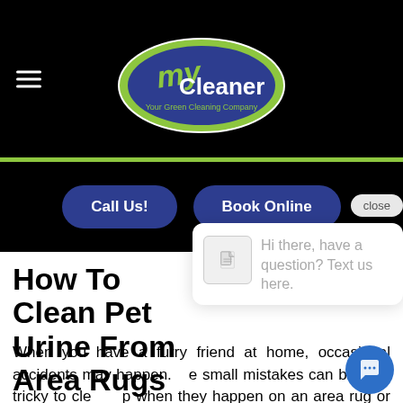[Figure (logo): MyCleaner - Your Green Cleaning Company logo on black background with hamburger menu icon]
[Figure (infographic): Call Us! and Book Online dark blue rounded pill buttons on black background]
[Figure (screenshot): Chat popup overlay with close button showing file icon and text: Hi there, have a question? Text us here.]
How To Clean Pet Urine From Area Rugs
When you have a furry friend at home, occasional accidents may happen. These small mistakes can be a bit tricky to clean up when they happen on an area rug or carpets.